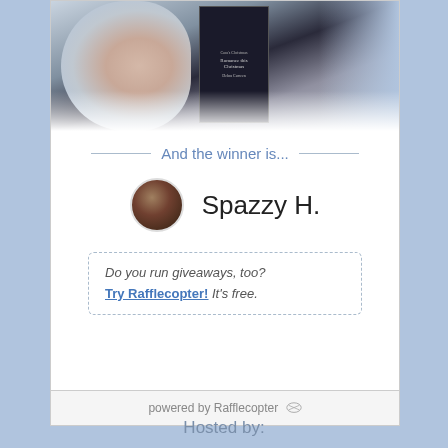[Figure (photo): Book cover image for a Christmas romance novel with a woman's face profile silhouette on the left and a dark book cover in the center]
And the winner is...
[Figure (photo): Circular avatar/profile photo of winner Spazzy H.]
Spazzy H.
Do you run giveaways, too? Try Rafflecopter! It's free.
powered by Rafflecopter
Hosted by: